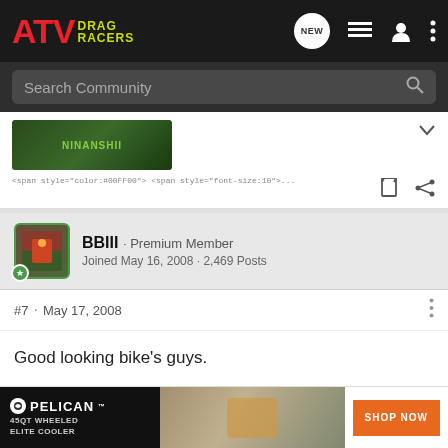ATV Drag Racers
Search Community
[Figure (screenshot): Banner image from previous post showing green ATV/outdoor scene with text 'NINANSHII']
<span style="color:#00FF00"> <span style="font-size:10"...
BBIII · Premium Member
Joined May 16, 2008 · 2,469 Posts
#7 · May 17, 2008
Good looking bike's guys.
[Figure (screenshot): Pelican 45QT Wheeled Elite Cooler advertisement with Shop Now button]